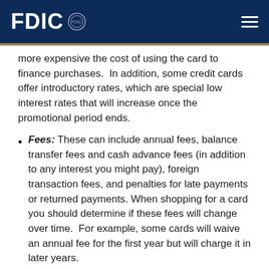FDIC
more expensive the cost of using the card to finance purchases.  In addition, some credit cards offer introductory rates, which are special low interest rates that will increase once the promotional period ends.
Fees: These can include annual fees, balance transfer fees and cash advance fees (in addition to any interest you might pay), foreign transaction fees, and penalties for late payments or returned payments. When shopping for a card you should determine if these fees will change over time.  For example, some cards will waive an annual fee for the first year but will charge it in later years.